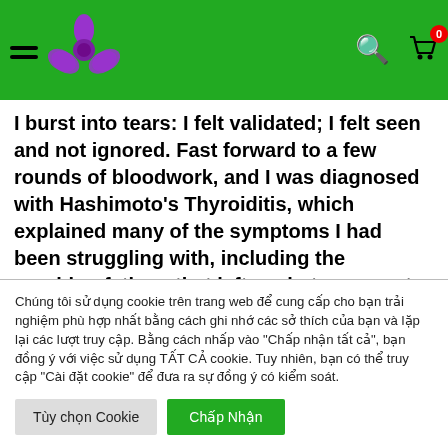Navigation header with hamburger menu, purple flower logo, search icon, and cart icon with badge 0
I burst into tears: I felt validated; I felt seen and not ignored. Fast forward to a few rounds of bloodwork, and I was diagnosed with Hashimoto's Thyroiditis, which explained many of the symptoms I had been struggling with, including the crushing fatigue that left me in tears most days.
Chúng tôi sử dụng cookie trên trang web để cung cấp cho bạn trải nghiệm phù hợp nhất bằng cách ghi nhớ các sở thích của bạn và lặp lại các lượt truy cập. Bằng cách nhấp vào "Chấp nhận tất cả", bạn đồng ý với việc sử dụng TẤT CẢ cookie. Tuy nhiên, bạn có thể truy cập "Cài đặt cookie" để đưa ra sự đồng ý có kiểm soát.
Tùy chọn Cookie | Chấp Nhận